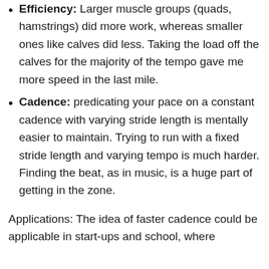Efficiency: Larger muscle groups (quads, hamstrings) did more work, whereas smaller ones like calves did less. Taking the load off the calves for the majority of the tempo gave me more speed in the last mile.
Cadence: predicating your pace on a constant cadence with varying stride length is mentally easier to maintain. Trying to run with a fixed stride length and varying tempo is much harder. Finding the beat, as in music, is a huge part of getting in the zone.
Applications: The idea of faster cadence could be applicable in start-ups and school, where